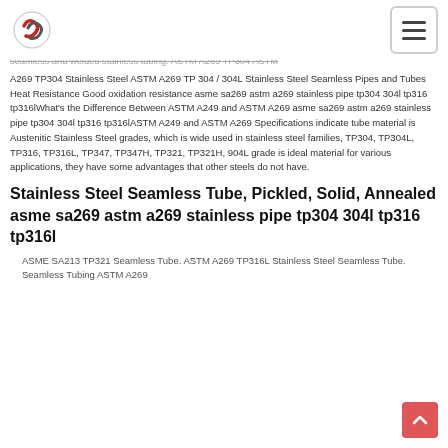Logo and navigation header
seamless and welded stainless tubing. ASTM A269 TP304 ASTM A269 TP304 Stainless Steel ASTM A269 TP 304 / 304L Stainless Steel Seamless Pipes and Tubes Heat Resistance Good oxidation resistance asme sa269 astm a269 stainless pipe tp304 304l tp316 tp316lWhat's the Difference Between ASTM A249 and ASTM A269 asme sa269 astm a269 stainless pipe tp304 304l tp316 tp316lASTM A249 and ASTM A269 Specifications indicate tube material is Austenitic Stainless Steel grades, which is wide used in stainless steel families, TP304, TP304L, TP316, TP316L, TP347, TP347H, TP321, TP321H, 904L grade is ideal material for various applications, they have some advantages that other steels do not have.
Stainless Steel Seamless Tube, Pickled, Solid, Annealed asme sa269 astm a269 stainless pipe tp304 304l tp316 tp316l
ASME SA213 TP321 Seamless Tube. ASTM A269 TP316L Stainless Steel Seamless Tube. Seamless Tubing ASTM A269